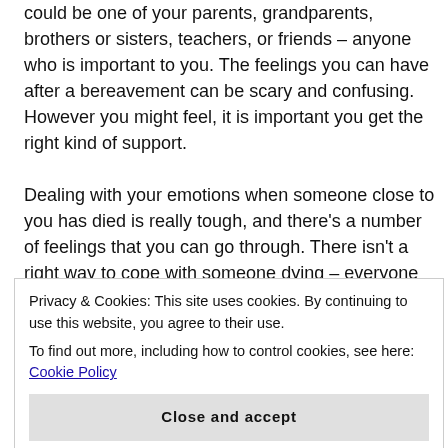could be one of your parents, grandparents, brothers or sisters, teachers, or friends – anyone who is important to you. The feelings you can have after a bereavement can be scary and confusing. However you might feel, it is important you get the right kind of support.
Dealing with your emotions when someone close to you has died is really tough, and there's a number of feelings that you can go through. There isn't a right way to cope with someone dying – everyone reacts differently.
If someone has died unexpectedly, you may feel shocked and confused about why it has happened. You can also feel angry that someone has been taken from you.
your feelings may be just the same even if you have been preparing for it. You can also feel relieved that someone you loved is no longer suffering from their condition.
Privacy & Cookies: This site uses cookies. By continuing to use this website, you agree to their use. To find out more, including how to control cookies, see here: Cookie Policy